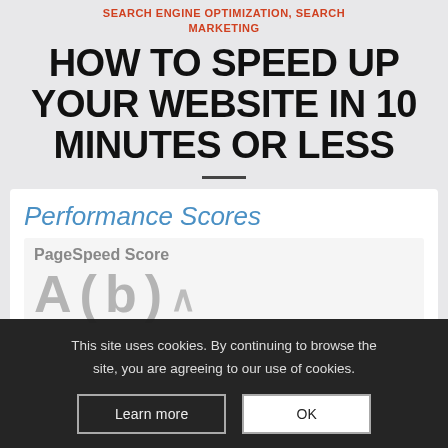SEARCH ENGINE OPTIMIZATION, SEARCH MARKETING
HOW TO SPEED UP YOUR WEBSITE IN 10 MINUTES OR LESS
[Figure (screenshot): Screenshot showing Performance Scores section with a PageSpeed Score card displaying letter grades A and B]
This site uses cookies. By continuing to browse the site, you are agreeing to our use of cookies.